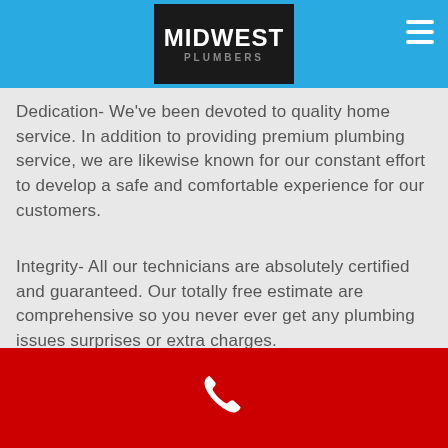Midwest Plumbers
Dedication- We've been devoted to quality home service. In addition to providing premium plumbing service, we are likewise known for our constant effort to develop a safe and comfortable experience for our customers.
Integrity- All our technicians are absolutely certified and guaranteed. Our totally free estimate are comprehensive so you never ever get any plumbing issues surprises or extra charges.
So Why Choose Midwest Plumbers?
Available 24 Hours, 7 Days a Week Day, night,
[Figure (other): Red bottom bar with white phone icon]